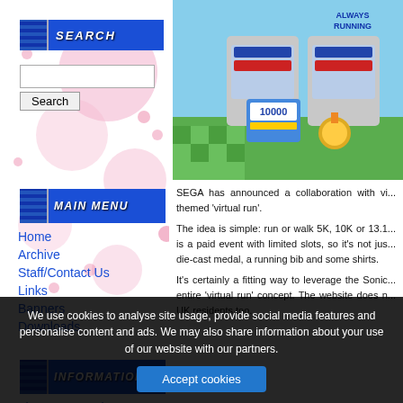[Figure (screenshot): Website screenshot showing search banner, main menu, navigation links, information section, article image of Sonic-themed running merchandise (t-shirts, bib, medal), article text about SEGA virtual run collaboration, and cookie consent banner.]
SEARCH
MAIN MENU
Home
Archive
Staff/Contact Us
Links
Banners
Downloads
INFORMATION
First Party Reviews
SEGA has announced a collaboration with vi... themed 'virtual run'.
The idea is simple: run or walk 5K, 10K or 13.1... is a paid event with limited slots, so it's not jus... die-cast medal, a running bib and some shirts.
It's certainly a fitting way to leverage the Sonic... entire 'virtual run' concept. The website does n... UK residents too.
We use cookies to analyse site usage, provide social media features and personalise content and ads. We may also share information about your use of our website with our partners.